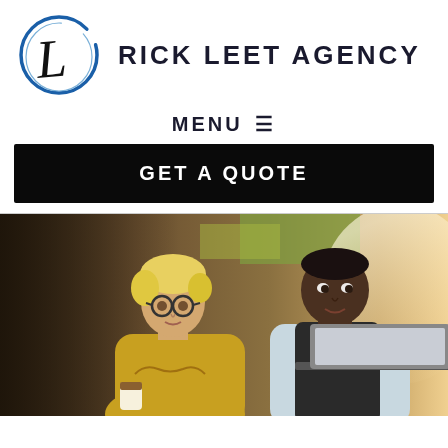[Figure (logo): Rick Leet Agency logo with stylized L in a blue circular brushstroke and agency name text]
MENU ☰
GET A QUOTE
[Figure (photo): Two business professionals, a blonde woman with glasses in a yellow top and a man in a vest, looking at a laptop together in an office setting]